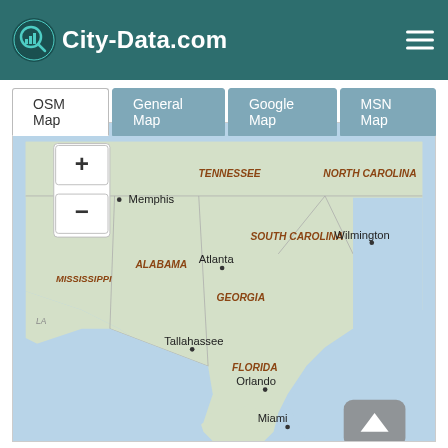City-Data.com
[Figure (map): Navigation bar with OSM Map, General Map, Google Map, MSN Map tabs above a southeastern United States map showing states: Tennessee, North Carolina, Alabama, Mississippi, South Carolina, Georgia, Florida with cities: Memphis, Atlanta, Wilmington, Tallahassee, Orlando, Miami. Zoom +/- controls visible on left side.]